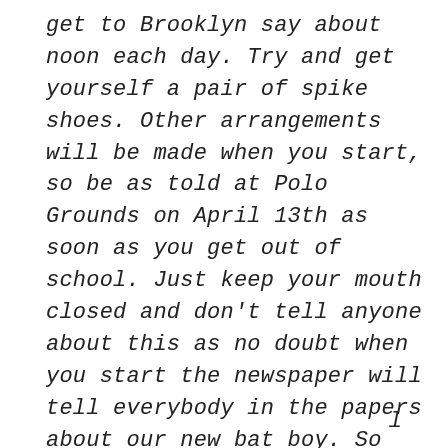get to Brooklyn say about noon each day. Try and get yourself a pair of spike shoes. Other arrangements will be made when you start, so be as told at Polo Grounds on April 13th as soon as you get out of school. Just keep your mouth closed and don't tell anyone about this as no doubt when you start the newspaper will tell everybody in the papers about our new bat boy. So keep still until such time. Hoping you are happy and pleased.
l